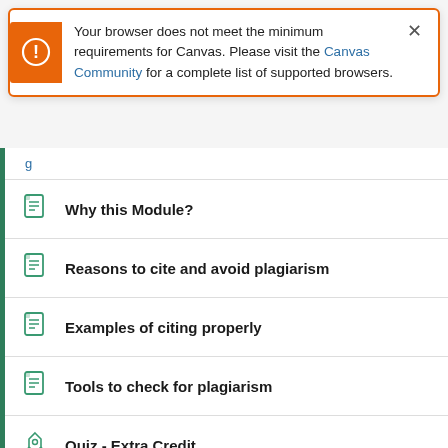Your browser does not meet the minimum requirements for Canvas. Please visit the Canvas Community for a complete list of supported browsers.
Why this Module?
Reasons to cite and avoid plagiarism
Examples of citing properly
Tools to check for plagiarism
Quiz - Extra Credit
Help Improve this Avoid Plagiarism